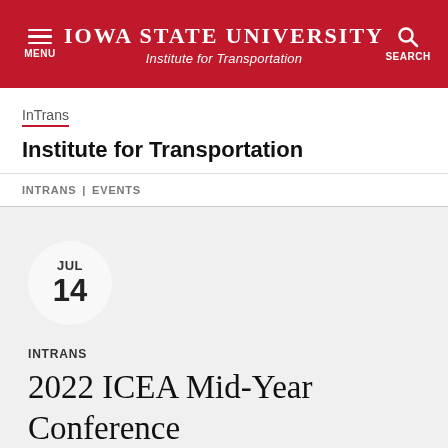IOWA STATE UNIVERSITY Institute for Transportation
InTrans
Institute for Transportation
INTRANS | EVENTS
JUL 14
INTRANS
2022 ICEA Mid-Year Conference